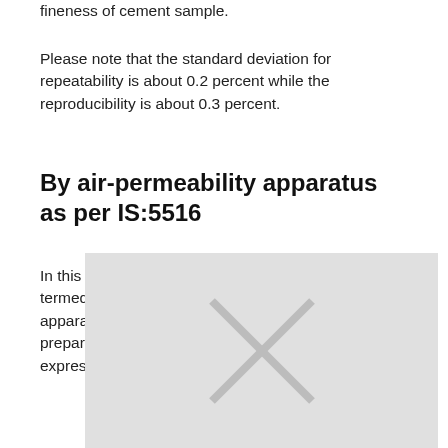fineness of cement sample.
Please note that the standard deviation for repeatability is about 0.2 percent while the reproducibility is about 0.3 percent.
By air-permeability apparatus as per IS:5516
In this method a specialized apparatus is used termed as Blaine’s air permeability apparatus. This apparatus draws a definite amount of air through a prepared bed of cement. This total surface area expressed
[Figure (photo): Partially visible image (appears to be a photograph related to the air-permeability apparatus or cement testing equipment), mostly obscured by a grey overlay with an X watermark.]